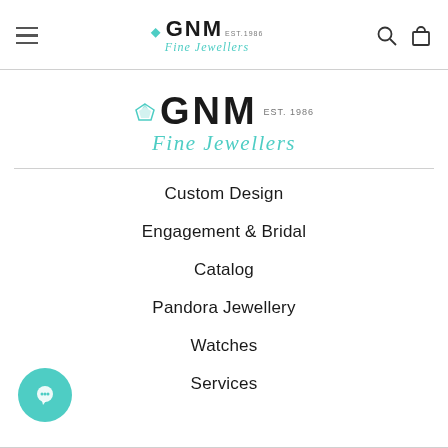GNM Fine Jewellers — site navigation header with hamburger menu, logo, search and cart icons
[Figure (logo): GNM Fine Jewellers logo with teal diamond icon, bold GNM lettering, EST. 1986, and italic Fine Jewellers script in teal]
Custom Design
Engagement & Bridal
Catalog
Pandora Jewellery
Watches
Services